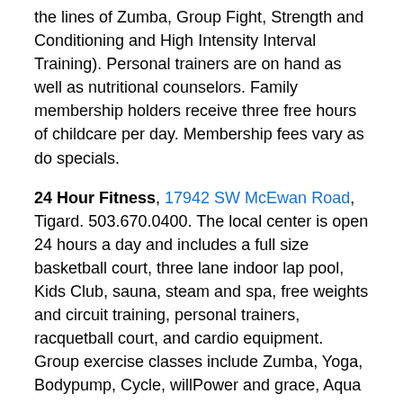the lines of Zumba, Group Fight, Strength and Conditioning and High Intensity Interval Training). Personal trainers are on hand as well as nutritional counselors. Family membership holders receive three free hours of childcare per day. Membership fees vary as do specials.
24 Hour Fitness, 17942 SW McEwan Road, Tigard. 503.670.0400. The local center is open 24 hours a day and includes a full size basketball court, three lane indoor lap pool, Kids Club, sauna, steam and spa, free weights and circuit training, personal trainers, racquetball court, and cardio equipment. Group exercise classes include Zumba, Yoga, Bodypump, Cycle, willPower and grace, Aqua fitness, and bootybarre. Membership fees vary. Take advantage of their free three day gym pass to check it out.